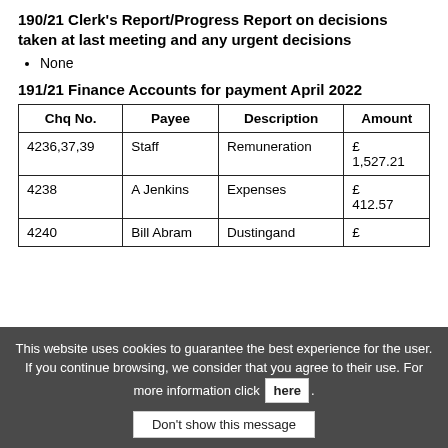190/21 Clerk's Report/Progress Report on decisions taken at last meeting and any urgent decisions
None
191/21 Finance Accounts for payment April 2022
| Chq No. | Payee | Description | Amount |
| --- | --- | --- | --- |
| 4236,37,39 | Staff | Remuneration | £ 1,527.21 |
| 4238 | A Jenkins | Expenses | £ 412.57 |
| 4240 | Bill Abram | Dustingand | £ |
This website uses cookies to guarantee the best experience for the user. If you continue browsing, we consider that you agree to their use. For more information click here. Don't show this message